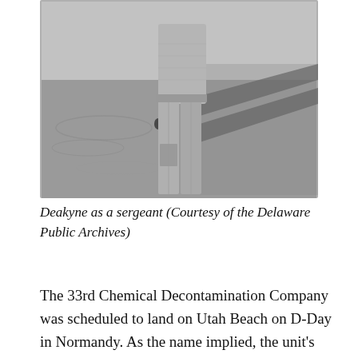[Figure (photo): Black and white photograph of Deakyne as a sergeant, showing a person standing, partial view from torso down, wearing military uniform trousers, with a boat or water vessel visible in the background.]
Deakyne as a sergeant (Courtesy of the Delaware Public Archives)
The 33rd Chemical Decontamination Company was scheduled to land on Utah Beach on D-Day in Normandy. As the name implied, the unit's original role was as a countermeasure in case the Germans responded to the invasion with chemical weapons like